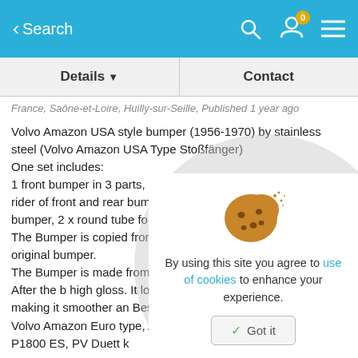< Search
Details ▾   Contact
France, Saône-et-Loire, Huilly-sur-Seille, Published 1 year ago
Volvo Amazon USA style bumper (1956-1970) by stainless steel (Volvo Amazon USA Type Stoßfänger)
One set includes:
1 front bumper in 3 parts, 1 rear bumper in 3 parts, 4 x over rider of front and rear bumper, towel bar for front and rear bumper, 2 x round tube for the front bumper, bolts and screw.
The Bumper is copied from the original in comparable to the original bumper.
The Bumper is made from 304 stainle different temperatures), After the b high gloss. It looks like chrome. The many layers, making it smoother an Besides bumper for Volvo Amazon U Volvo Amazon Euro type, Amazon Wag type, P1800 Jensen, P1800 ES, PV Duett k
[Figure (illustration): Cookie consent popup with cookie illustration. Text: 'By using this site you agree to use of cookies to enhance your experience.' with 'Got it' button.]